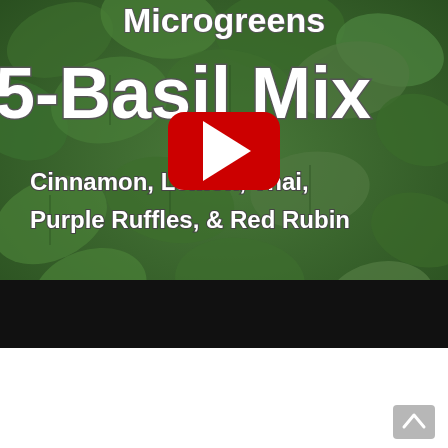[Figure (screenshot): YouTube video thumbnail showing microgreens (basil leaves background) with text 'Microgreens 5-Basil Mix' and subtitle 'Cinnamon, Lemon, Thai, Purple Ruffles, & Red Rubin'. A YouTube play button is overlaid in the center. The bottom portion of the thumbnail is dark/black. Below the thumbnail is white space with a scroll-to-top button in the bottom right corner.]